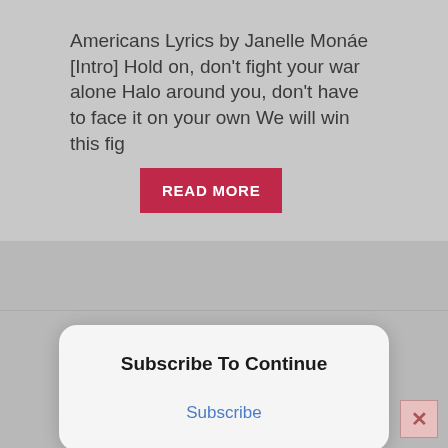Americans Lyrics by Janelle Monáe [Intro] Hold on, don't fight your war alone Halo around you, don't have to face it on your own We will win this fig
READ MORE
Subscribe To Continue
Subscribe
[Figure (logo): Madonna University logo with large M monogram in dark blue and gold, and text MADONNA UNIVERSITY below]